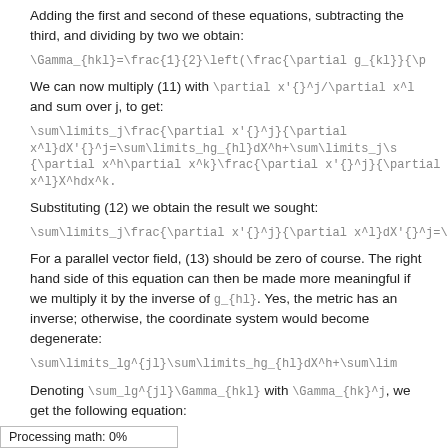Adding the first and second of these equations, subtracting the third, and dividing by two we obtain:
We can now multiply (11) with \partial x'{}^j/\partial x^j and sum over j, to get:
Substituting (12) we obtain the result we sought:
For a parallel vector field, (13) should be zero of course. The right hand side of this equation can then be made more meaningful if we multiply it by the inverse of g_{hl}. Yes, the metric has an inverse; otherwise, the coordinate system would become degenerate:
Denoting \sum_l g^{jl}\Gamma_{hkl} with \Gamma_{hk}^j, we get the following equation:
Processing math: 0%